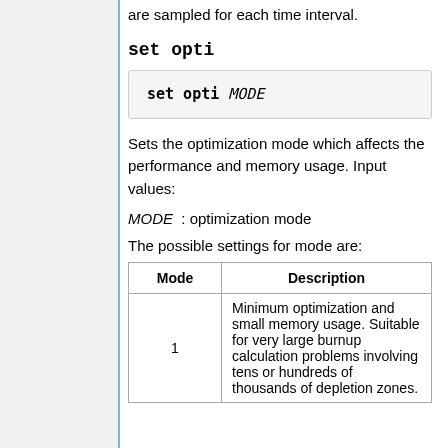are sampled for each time interval.
set opti
[Figure (other): Code block showing: set opti MODE]
Sets the optimization mode which affects the performance and memory usage. Input values:
MODE : optimization mode
The possible settings for mode are:
| Mode | Description |
| --- | --- |
| 1 | Minimum optimization and small memory usage. Suitable for very large burnup calculation problems involving tens or hundreds of thousands of depletion zones. |